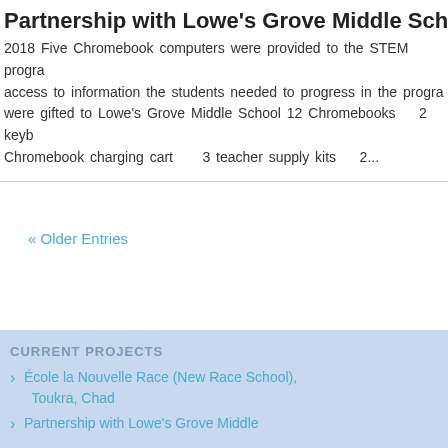Partnership with Lowe's Grove Middle School
2018 Five Chromebook computers were provided to the STEM program access to information the students needed to progress in the program were gifted to Lowe's Grove Middle School 12 Chromebooks   2 keyboards Chromebook charging cart   3 teacher supply kits   2...
« Older Entries
CURRENT PROJECTS
École la Nouvelle Race (New Race School), Toukra, Chad
Partnership with Lowe's Grove Middle